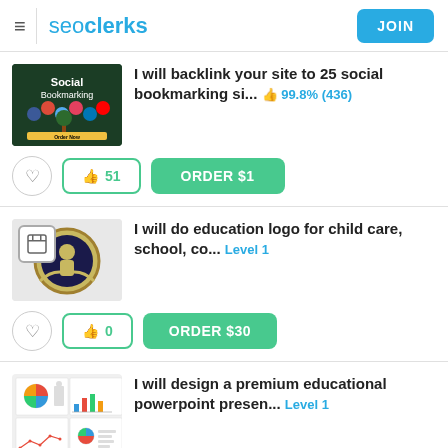seoclerks | JOIN
[Figure (screenshot): Social Bookmarking thumbnail - dark green background with social media icons and tree]
I will backlink your site to 25 social bookmarking si... 👍 99.8% (436)
👍 51  ORDER $1
[Figure (logo): Education logo - circular badge with graduation cap on grey background]
I will do education logo for child care, school, co...  Level 1
👍 0  ORDER $30
[Figure (screenshot): PowerPoint presentation thumbnail grid - 4 slides with charts and figures]
I will design a premium educational powerpoint presen...  Level 1
👍 0  ORDER $5